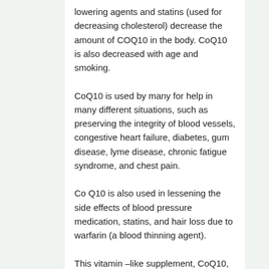lowering agents and statins (used for decreasing cholesterol) decrease the amount of COQ10 in the body. CoQ10 is also decreased with age and smoking. CoQ10 is used by many for help in many different situations, such as preserving the integrity of blood vessels, congestive heart failure, diabetes, gum disease, lyme disease, chronic fatigue syndrome, and chest pain. Co Q10 is also used in lessening the side effects of blood pressure medication, statins, and hair loss due to warfarin (a blood thinning agent). This vitamin –like supplement, CoQ10, also has energy producing properties. CoQ10 can be beneficial in increasing exercise tolerance.